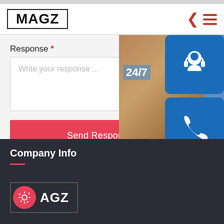MAGZ
Response *
Write your response ...
Send Response
[Figure (screenshot): Customer support overlay with 24/7 badge, support agent photo, and three blue icon buttons (headset, phone, Skype) on the right side, plus an 'online live' banner]
Company Info
[Figure (logo): MAGZ logo with gear icon in red circle, white text AGZ, dark background footer version]